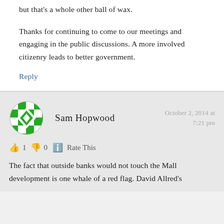but that's a whole other ball of wax.
Thanks for continuing to come to our meetings and engaging in the public discussions. A more involved citizenry leads to better government.
Reply
Sam Hopwood
October 2, 2014 at 7:21 pm
👍 1 👎 0 ℹ Rate This
The fact that outside banks would not touch the Mall development is one whale of a red flag. David Allred's